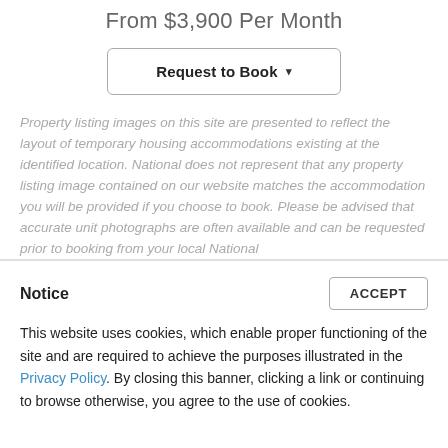From $3,900 Per Month
Request to Book ▾
Property listing images on this site are presented to reflect the layout of temporary housing accommodations existing at the identified location. National does not represent that any property listing image contained on our website matches the accommodation you will be provided if you choose to book. Please be advised that accurate unit photographs are often available and can be requested prior to booking from your local National
Notice
ACCEPT
This website uses cookies, which enable proper functioning of the site and are required to achieve the purposes illustrated in the Privacy Policy. By closing this banner, clicking a link or continuing to browse otherwise, you agree to the use of cookies.